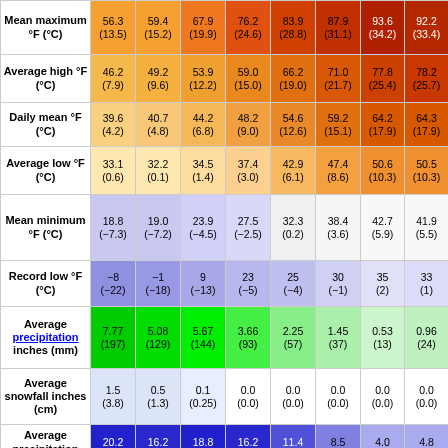|  | Col1 | Col2 | Col3 | Col4 | Col5 | Col6 | Col7 | Col8 |
| --- | --- | --- | --- | --- | --- | --- | --- | --- |
| Mean maximum °F (°C) | 56.3 (13.5) | 59.4 (15.2) | 67.9 (19.9) | 76.2 (24.6) | 83.9 (28.8) | 87.9 (31.1) | 93.6 (34.2) | 92.2 (33.4) |
| Average high °F (°C) | 46.2 (7.9) | 49.2 (9.6) | 53.9 (12.2) | 59.0 (15.0) | 66.2 (19.0) | 71.0 (21.7) | 77.8 (25.4) | 78.2 (25.7) |
| Daily mean °F (°C) | 39.6 (4.2) | 40.7 (4.8) | 44.2 (6.8) | 48.2 (9.0) | 54.6 (12.6) | 59.2 (15.1) | 64.2 (17.9) | 64.3 (17.9) |
| Average low °F (°C) | 33.1 (0.6) | 32.2 (0.1) | 34.5 (1.4) | 37.4 (3.0) | 42.9 (6.1) | 47.4 (8.6) | 50.6 (10.3) | 50.5 (10.3) |
| Mean minimum °F (°C) | 18.8 (−7.3) | 19.0 (−7.2) | 23.9 (−4.5) | 27.5 (−2.5) | 32.3 (0.2) | 38.4 (3.6) | 42.7 (5.9) | 41.9 (5.5) |
| Record low °F (°C) | −8 (−22) | −1 (−18) | 9 (−13) | 23 (−5) | 25 (−4) | 30 (−1) | 35 (2) | 33 (1) |
| Average precipitation inches (mm) | 7.77 (197) | 5.08 (129) | 5.67 (144) | 3.66 (93) | 2.25 (57) | 1.45 (37) | 0.53 (13) | 0.96 (24) |
| Average snowfall inches (cm) | 1.5 (3.8) | 0.5 (1.3) | 0.1 (0.25) | 0.0 (0.0) | 0.0 (0.0) | 0.0 (0.0) | 0.0 (0.0) | 0.0 (0.0) |
| Average precipitation days | 20.2 | 16.2 | 18.8 | 16.2 | 11.4 | 8.5 | 4.0 | 4.8 |